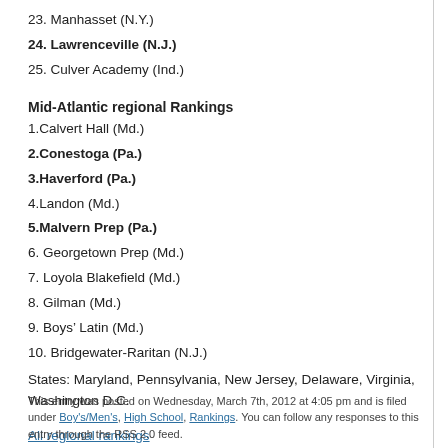23. Manhasset (N.Y.)
24. Lawrenceville (N.J.)
25. Culver Academy (Ind.)
Mid-Atlantic regional Rankings
1.Calvert Hall (Md.)
2.Conestoga (Pa.)
3.Haverford (Pa.)
4.Landon (Md.)
5.Malvern Prep (Pa.)
6. Georgetown Prep (Md.)
7. Loyola Blakefield (Md.)
8. Gilman (Md.)
9. Boys’ Latin (Md.)
10. Bridgewater-Raritan (N.J.)
States: Maryland, Pennsylvania, New Jersey, Delaware, Virginia, Washington D.C.
All regional rankings
Tags: Conestoga, Haverford School, Malvern Prep
This entry was posted on Wednesday, March 7th, 2012 at 4:05 pm and is filed under Boy’s/Men's, High School, Rankings. You can follow any responses to this entry through the RSS 2.0 feed.